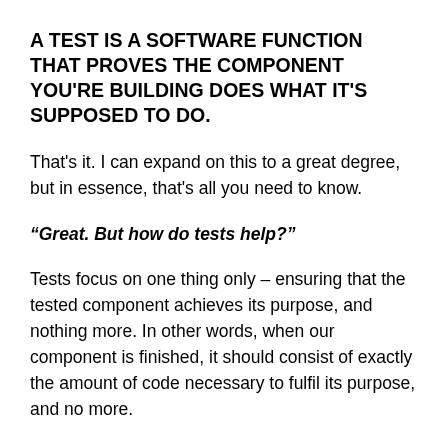A TEST IS A SOFTWARE FUNCTION THAT PROVES THE COMPONENT YOU'RE BUILDING DOES WHAT IT'S SUPPOSED TO DO.
That's it. I can expand on this to a great degree, but in essence, that's all you need to know.
“Great. But how do tests help?”
Tests focus on one thing only – ensuring that the tested component achieves its purpose, and nothing more. In other words, when our component is finished, it should consist of exactly the amount of code necessary to fulfil its purpose, and no more.
“That makes sense. What about Object Oriented Design? I don’t see how that helps. Will systems designed in an object-oriented manner run more